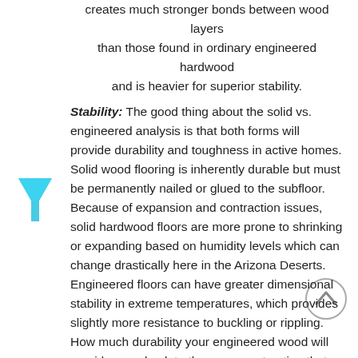creates much stronger bonds between wood layers than those found in ordinary engineered hardwood and is heavier for superior stability. Stability: The good thing about the solid vs. engineered analysis is that both forms will provide durability and toughness in active homes. Solid wood flooring is inherently durable but must be permanently nailed or glued to the subfloor. Because of expansion and contraction issues, solid hardwood floors are more prone to shrinking or expanding based on humidity levels which can change drastically here in the Arizona Deserts. Engineered floors can have greater dimensional stability in extreme temperatures, which provides slightly more resistance to buckling or rippling. How much durability your engineered wood will provide goes back to the core construction that you choose. Installing Hardwood: Where are your new floors going